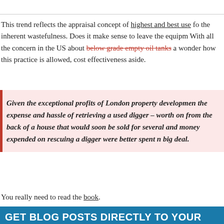This trend reflects the appraisal concept of highest and best use fo the inherent wastefulness. Does it make sense to leave the equipm With all the concern in the US about below grade empty oil tanks a wonder how this practice is allowed, cost effectiveness aside.
Given the exceptional profits of London property developmen the expense and hassle of retrieving a used digger – worth on from the back of a house that would soon be sold for several and money expended on rescuing a digger were better spent n big deal.
You really need to read the book.
GET BLOG POSTS DIRECTLY TO YOUR INBO
Sign up to stay updated and get Jonathan Miller's blog posts by